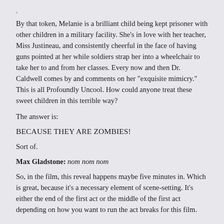.
By that token, Melanie is a brilliant child being kept prisoner with other children in a military facility. She’s in love with her teacher, Miss Justineau, and consistently cheerful in the face of having guns pointed at her while soldiers strap her into a wheelchair to take her to and from her classes. Every now and then Dr. Caldwell comes by and comments on her “exquisite mimicry.” This is all Profoundly Uncool. How could anyone treat these sweet children in this terrible way?
The answer is:
BECAUSE THEY ARE ZOMBIES!
Sort of.
Max Gladstone: nom nom nom
So, in the film, this reveal happens maybe five minutes in. Which is great, because it’s a necessary element of scene-setting. It’s either the end of the first act or the middle of the first act depending on how you want to run the act breaks for this film.